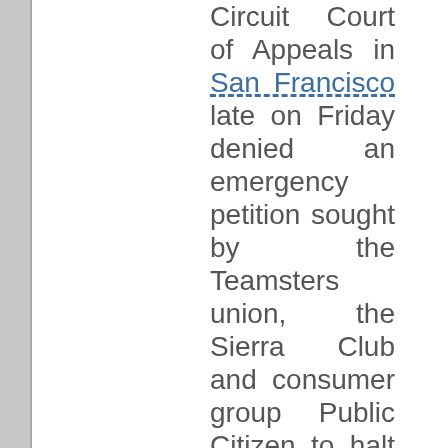Circuit Court of Appeals in San Francisco late on Friday denied an emergency petition sought by the Teamsters union, the Sierra Club and consumer group Public Citizen to halt the